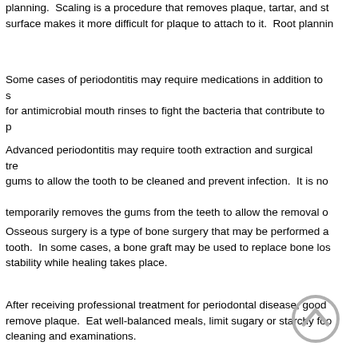planning. Scaling is a procedure that removes plaque, tartar, and stains from the tooth surface makes it more difficult for plaque to attach to it. Root planning...
Some cases of periodontitis may require medications in addition to scaling and root planning for antimicrobial mouth rinses to fight the bacteria that contribute to periodontitis.
Advanced periodontitis may require tooth extraction and surgical treatment that cuts the gums to allow the tooth to be cleaned and prevent infection. It is not unusual to have surgery temporarily removes the gums from the teeth to allow the removal of...
Osseous surgery is a type of bone surgery that may be performed around the affected tooth. In some cases, a bone graft may be used to replace bone lost to disease and provide stability while healing takes place.
After receiving professional treatment for periodontal disease, good oral hygiene is essential to remove plaque. Eat well-balanced meals, limit sugary or starchy foods, and return for regular cleaning and examinations.
[Figure (illustration): A circular back/up navigation button with a chevron/caret pointing upward, rendered in gray outline style]